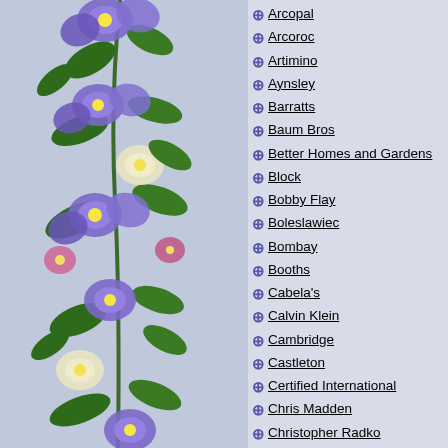[Figure (illustration): Decorative floral border on the left side of the page with purple and blue morning glory flowers and green leaves on a light purple/blue background]
Arcopal
Arcoroc
Artimino
Aynsley
Barratts
Baum Bros
Better Homes and Gardens
Block
Bobby Flay
Boleslawiec
Bombay
Booths
Cabela's
Calvin Klein
Cambridge
Castleton
Certified International
Chris Madden
Christopher Radko
Christopher Stuart
Coventry
Cracker Barrel
Crate & Barrel
Dansk
Denby Ode Round Serving Bowl
$ 20.99
Denby Ode Round Serving Bowl. 8.25 3.75 in. deep. Very nice near mint to mint item.
Get Shipping Qu...
Any Questio...
You
Daytime P
Evening P
Email a
Confir a
If you are requesting a